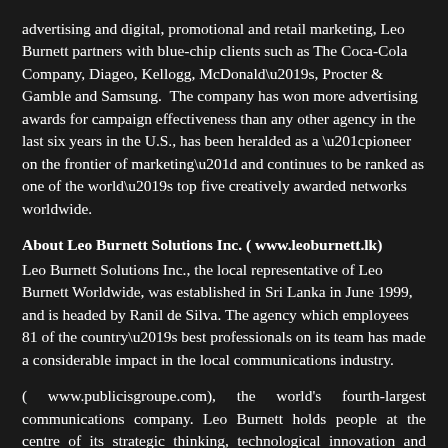advertising and digital, promotional and retail marketing, Leo Burnett partners with blue-chip clients such as The Coca-Cola Company, Diageo, Kellogg, McDonald's, Procter & Gamble and Samsung.  The company has won more advertising awards for campaign effectiveness than any other agency in the last six years in the U.S., has been heralded as a “pioneer on the frontier of marketing” and continues to be ranked as one of the world’s top five creatively awarded networks worldwide.
About Leo Burnett Solutions Inc. ( www.leoburnett.lk)
Leo Burnett Solutions Inc., the local representative of Leo Burnett Worldwide, was established in Sri Lanka in June 1999, and is headed by Ranil de Silva. The agency which employees 81 of the country’s best professionals on its team has made a considerable impact in the local communications industry.
( www.publicisgroupe.com), the world's fourth-largest communications company. Leo Burnett holds people at the centre of its strategic thinking, technological innovation and creative